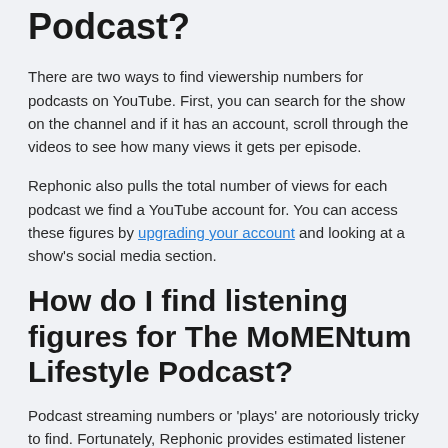Podcast?
There are two ways to find viewership numbers for podcasts on YouTube. First, you can search for the show on the channel and if it has an account, scroll through the videos to see how many views it gets per episode.
Rephonic also pulls the total number of views for each podcast we find a YouTube account for. You can access these figures by upgrading your account and looking at a show's social media section.
How do I find listening figures for The MoMENtum Lifestyle Podcast?
Podcast streaming numbers or 'plays' are notoriously tricky to find. Fortunately, Rephonic provides estimated listener figures for The MoMENtum Lifestyle Podcast and two million other podcasts in our database.
To check these stats and get a feel for the show's audience size,